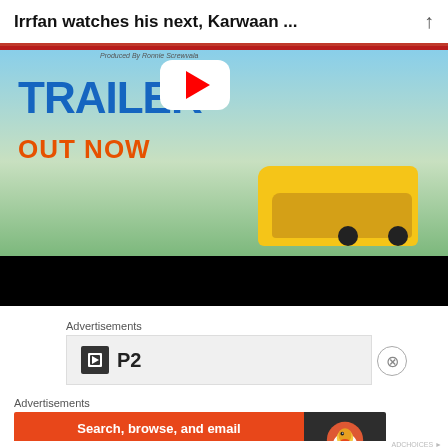Irrfan watches his next, Karwaan ...
[Figure (screenshot): Movie trailer thumbnail showing 'TRAILER OUT NOW' text with YouTube play button overlay and movie scene with yellow taxi and characters]
[Figure (screenshot): Black video player controls bar]
Advertisements
[Figure (screenshot): P2 advertisement box with dark square logo icon and P2 text]
Advertisements
[Figure (screenshot): DuckDuckGo advertisement banner: Search, browse, and email with more privacy. All in One Free App - DuckDuckGo logo on dark background]